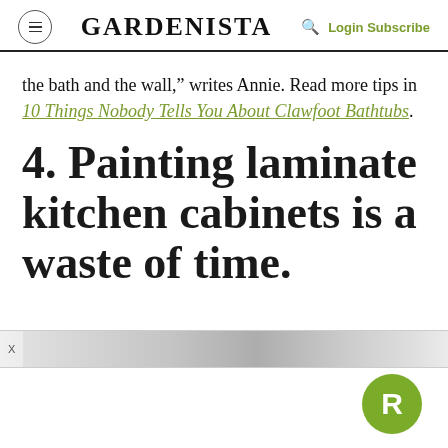GARDENISTA | Login Subscribe
the bath and the wall," writes Annie. Read more tips in 10 Things Nobody Tells You About Clawfoot Bathtubs.
4. Painting laminate kitchen cabinets is a waste of time.
[Figure (other): Advertisement bar with X close button and gradient gray design, and a green circular badge with the letter R in the bottom right corner.]